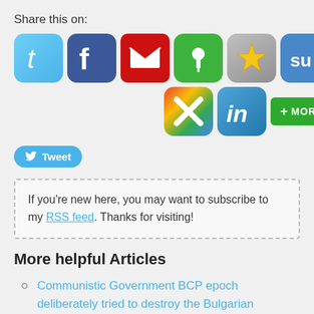Share this on:
[Figure (infographic): Row of social sharing icons: Twitter (blue bird), Facebook (blue f), Mail (red envelope), Pin (green pushpin), Star/Favorites (grey star), StumbleUpon (blue su), Delicious (black/white squares), then second row: Google+ (colored X), LinkedIn (blue in), and a green MORE button]
[Figure (infographic): Blue Twitter Tweet button with bird icon]
If you're new here, you may want to subscribe to my RSS feed. Thanks for visiting!
More helpful Articles
Communistic Government BCP epoch deliberately tried to destroy the Bulgarian Orthodox Church